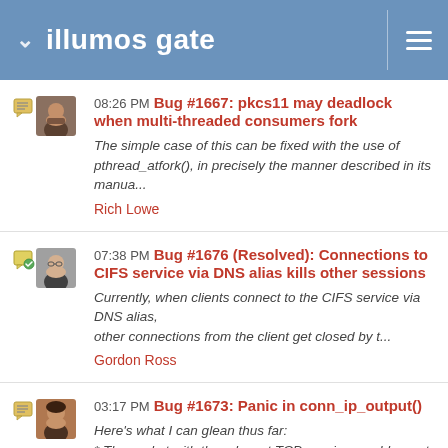illumos gate
08:26 PM Bug #1667: pkcs11 may deadlock when multi-threaded consumers fork
The simple case of this can be fixed with the use of pthread_atfork(), in precisely the manner described in its manua...
Rich Lowe
07:38 PM Bug #1676 (Resolved): Connections to CIFS service via DNS alias kills other sessions
Currently, when clients connect to the CIFS service via DNS alias,
other connections from the client get closed by t...
Gordon Ross
03:17 PM Bug #1673: Panic in conn_ip_output()
Here's what I can glean thus far:
* The socket with the relevant TCP session would report ECONNRESET to any proces...
Dan McDonald